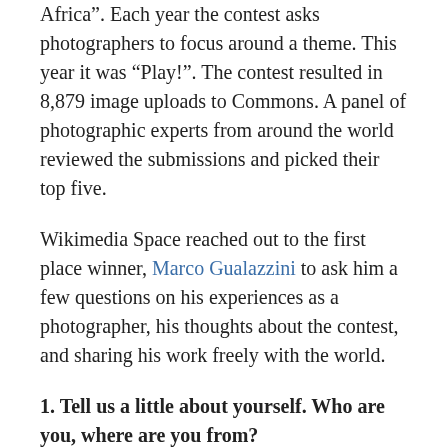Africa". Each year the contest asks photographers to focus around a theme. This year it was “Play!”. The contest resulted in 8,879 image uploads to Commons. A panel of photographic experts from around the world reviewed the submissions and picked their top five.
Wikimedia Space reached out to the first place winner, Marco Gualazzini to ask him a few questions on his experiences as a photographer, his thoughts about the contest, and sharing his work freely with the world.
1. Tell us a little about yourself. Who are you, where are you from?
I’m an Italian photojournalist. I’ve been working as